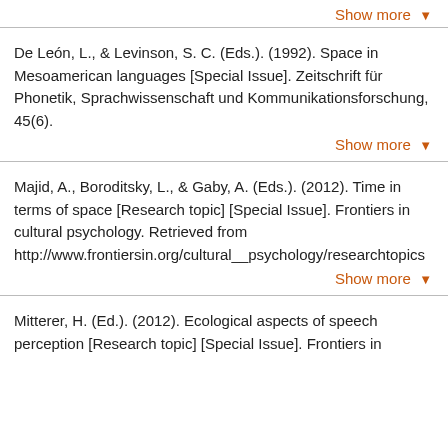Show more ▾
De León, L., & Levinson, S. C. (Eds.). (1992). Space in Mesoamerican languages [Special Issue]. Zeitschrift für Phonetik, Sprachwissenschaft und Kommunikationsforschung, 45(6).
Show more ▾
Majid, A., Boroditsky, L., & Gaby, A. (Eds.). (2012). Time in terms of space [Research topic] [Special Issue]. Frontiers in cultural psychology. Retrieved from http://www.frontiersin.org/cultural__psychology/researchtopics
Show more ▾
Mitterer, H. (Ed.). (2012). Ecological aspects of speech perception [Research topic] [Special Issue]. Frontiers in